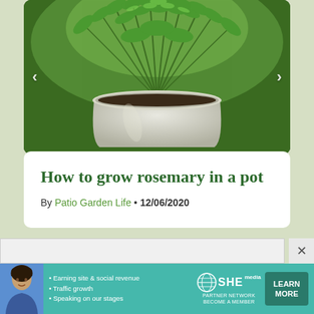[Figure (photo): Close-up photo of a rosemary plant growing in a round white/grey ceramic pot, with dark soil visible, on a blurred background. Navigation arrows on left and right sides.]
How to grow rosemary in a pot
By Patio Garden Life • 12/06/2020
[Figure (infographic): Carousel pagination dots: 6 dots total, first dot filled dark (active), remaining 5 dots grey (inactive)]
[Figure (infographic): SHE Partner Network advertisement banner with a woman photo, bullet points: Earning site & social revenue, Traffic growth, Speaking on our stages, SHE Media logo with globe icon, BECOME A MEMBER text, and LEARN MORE button in dark green]